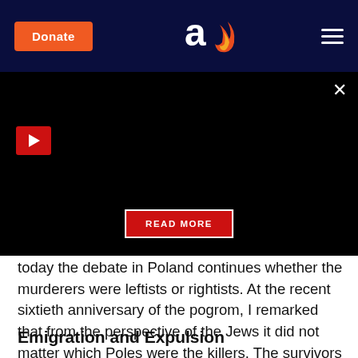Donate | [logo] | [menu]
[Figure (screenshot): Black video panel with red play button, close X, and READ MORE button overlay]
today the debate in Poland continues whether the murderers were leftists or rightists. At the recent sixtieth anniversary of the pogrom, I remarked that from the perspective of the Jews it did not matter which Poles were the killers. The survivors wanted to live in a place where there was no risk of such atrocities."
Emigration and Expulsion